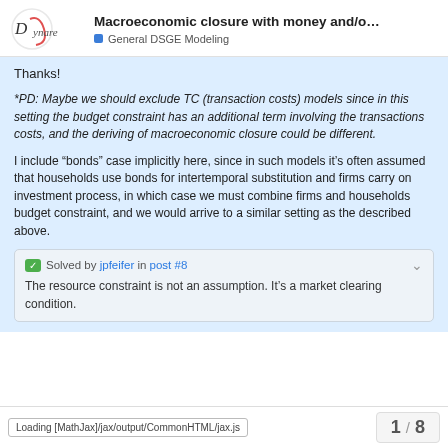Macroeconomic closure with money and/o... | General DSGE Modeling
Thanks!
*PD: Maybe we should exclude TC (transaction costs) models since in this setting the budget constraint has an additional term involving the transactions costs, and the deriving of macroeconomic closure could be different.
I include “bonds” case implicitly here, since in such models it’s often assumed that households use bonds for intertemporal substitution and firms carry on investment process, in which case we must combine firms and households budget constraint, and we would arrive to a similar setting as the described above.
Solved by jpfeifer in post #8
The resource constraint is not an assumption. It’s a market clearing condition.
Loading [MathJax]/jax/output/CommonHTML/jax.js | 1 / 8